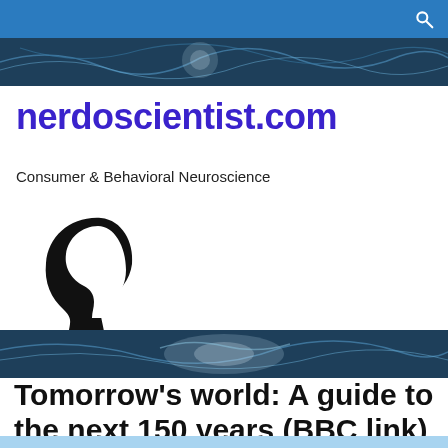nerdoscientist.com — Consumer & Behavioral Neuroscience
nerdoscientist.com
Consumer & Behavioral Neuroscience
[Figure (illustration): A black silhouette combining a human head profile with a question mark shape, suggesting curiosity or the mysteries of the mind.]
Tomorrow’s world: A guide to the next 150 years (BBC link)